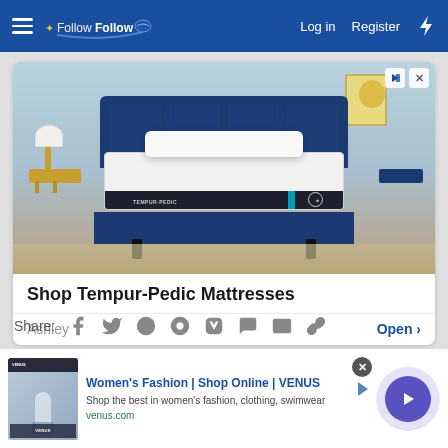FollowFollow — Log in   Register
[Figure (photo): Advertisement showing a Tempur-Pedic mattress on a blue velvet bed frame in a styled bedroom with lamp and artwork. Headline: Shop Tempur-Pedic Mattresses. Source: Ashley. CTA: Open]
Shop Tempur-Pedic Mattresses
Ashley   Open >
Share:
[Figure (infographic): Bottom advertisement banner: Women's Fashion | Shop Online | VENUS — Shop the best in women's fashion, clothing, swimwear — venus.com — with thumbnail image and arrow navigation button]